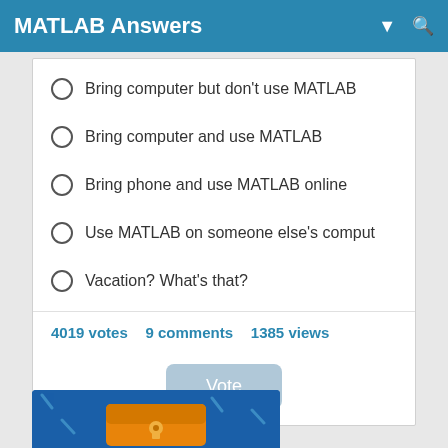MATLAB Answers
Bring computer but don't use MATLAB
Bring computer and use MATLAB
Bring phone and use MATLAB online
Use MATLAB on someone else's comput
Vacation? What's that?
4019 votes   9 comments   1385 views
[Figure (screenshot): Vote button below poll stats]
[Figure (illustration): Partial blue background with orange chest/lockbox graphic at bottom of page]